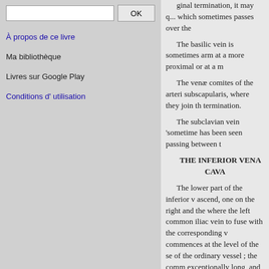A propos de ce livre
Ma bibliothèque
Livres sur Google Play
Conditions d' utilisation
...original termination, it may q... which sometimes passes over the...
The basilic vein is sometimes... arm at a more proximal or at a m...
The venæ comites of the arteri... subscapularis, where they join th... termination.
The subclavian vein 'sometime... has been seen passing between th...
THE INFERIOR VENA CAVA
The lower part of the inferior v... ascend, one on the right and the ... where the left common iliac vein ... to fuse with the corresponding v... commences at the level of the se... of the ordinary vessel ; the comm... exceptionally long, and they may... anastomosing channel. Cases of ... cava.
Occasionally the inferior vena ca... azygos, which is much enlarged...